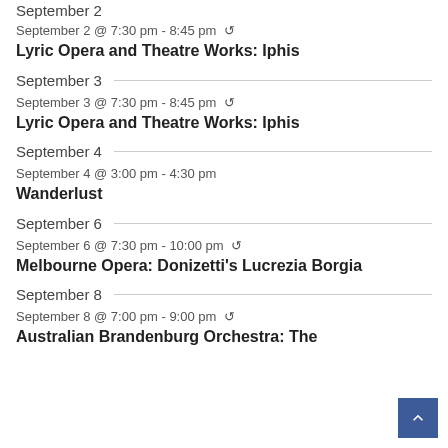September 2
September 2 @ 7:30 pm - 8:45 pm ↺
Lyric Opera and Theatre Works: Iphis
September 3
September 3 @ 7:30 pm - 8:45 pm ↺
Lyric Opera and Theatre Works: Iphis
September 4
September 4 @ 3:00 pm - 4:30 pm
Wanderlust
September 6
September 6 @ 7:30 pm - 10:00 pm ↺
Melbourne Opera: Donizetti's Lucrezia Borgia
September 8
September 8 @ 7:00 pm - 9:00 pm ↺
Australian Brandenburg Orchestra: The